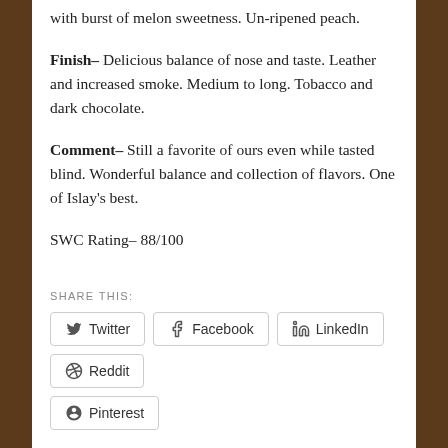with burst of melon sweetness. Un-ripened peach.
Finish– Delicious balance of nose and taste. Leather and increased smoke. Medium to long. Tobacco and dark chocolate.
Comment– Still a favorite of ours even while tasted blind. Wonderful balance and collection of flavors. One of Islay's best.
SWC Rating– 88/100
SHARE THIS:
Twitter
Facebook
LinkedIn
Reddit
Pinterest